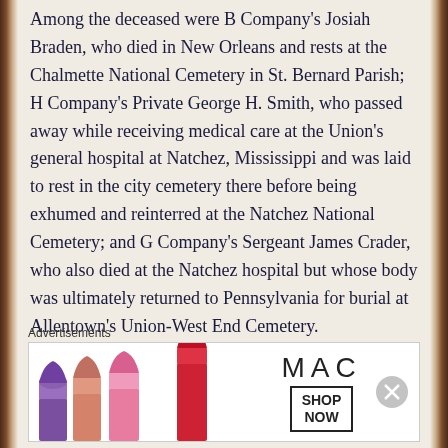Among the deceased were B Company's Josiah Braden, who died in New Orleans and rests at the Chalmette National Cemetery in St. Bernard Parish; H Company's Private George H. Smith, who passed away while receiving medical care at the Union's general hospital at Natchez, Mississippi and was laid to rest in the city cemetery there before being exhumed and reinterred at the Natchez National Cemetery; and G Company's Sergeant James Crader, who also died at the Natchez hospital but whose body was ultimately returned to Pennsylvania for burial at Allentown's Union-West End Cemetery.
Advertisements
[Figure (other): MAC Cosmetics advertisement banner with lipsticks and SHOP NOW call to action]